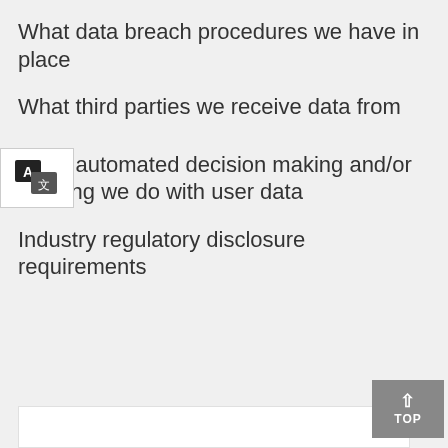What data breach procedures we have in place
What third parties we receive data from
What automated decision making and/or profiling we do with user data
Industry regulatory disclosure requirements